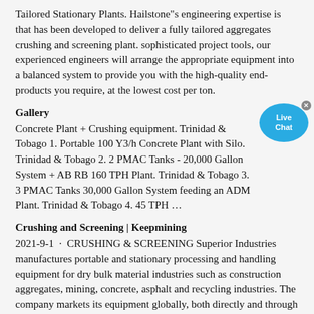Tailored Stationary Plants. Hailstone"s engineering expertise is that has been developed to deliver a fully tailored aggregates crushing and screening plant. sophisticated project tools, our experienced engineers will arrange the appropriate equipment into a balanced system to provide you with the high-quality end-products you require, at the lowest cost per ton.
Gallery
Concrete Plant + Crushing equipment. Trinidad & Tobago 1. Portable 100 Y3/h Concrete Plant with Silo. Trinidad & Tobago 2. 2 PMAC Tanks - 20,000 Gallon System + AB RB 160 TPH Plant. Trinidad & Tobago 3. 3 PMAC Tanks 30,000 Gallon System feeding an ADM Plant. Trinidad & Tobago 4. 45 TPH …
Crushing and Screening | Keepmining
2021-9-1 · CRUSHING & SCREENING Superior Industries manufactures portable and stationary processing and handling equipment for dry bulk material industries such as construction aggregates, mining, concrete, asphalt and recycling industries. The company markets its equipment globally, both directly and through a network of dealers. Superior manufactures equipment for crushing, screening, …
MJ Series Jaw Crusher -AMC Crusher
2021-9-6 · MJ series jaw crusher is mainly used as coarse
[Figure (other): Live Chat bubble widget overlay in blue with X close button]